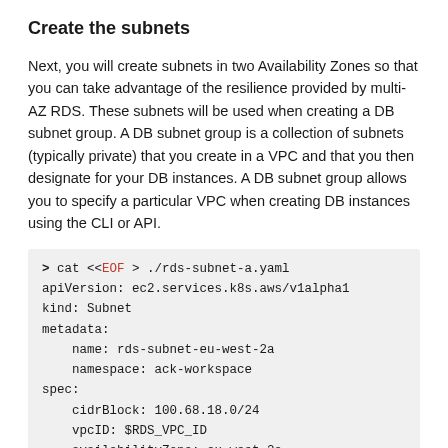Create the subnets
Next, you will create subnets in two Availability Zones so that you can take advantage of the resilience provided by multi-AZ RDS. These subnets will be used when creating a DB subnet group. A DB subnet group is a collection of subnets (typically private) that you create in a VPC and that you then designate for your DB instances. A DB subnet group allows you to specify a particular VPC when creating DB instances using the CLI or API.
> cat <<EOF > ./rds-subnet-a.yaml
apiVersion: ec2.services.k8s.aws/v1alpha1
kind: Subnet
metadata:
  name: rds-subnet-eu-west-2a
  namespace: ack-workspace
spec:
  cidrBlock: 100.68.18.0/24
  vpcID: $RDS_VPC_ID
  availabilityZone: eu-west-2a
EOF